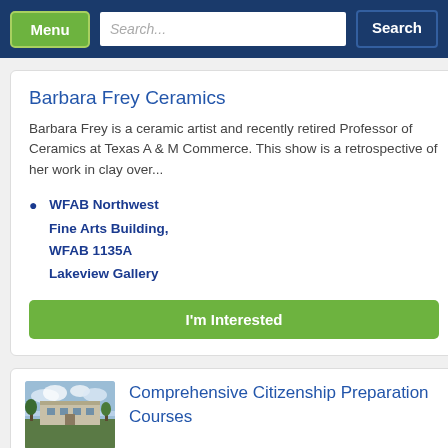Menu | Search... | Search
Barbara Frey Ceramics
Barbara Frey is a ceramic artist and recently retired Professor of Ceramics at Texas A & M Commerce. This show is a retrospective of her work in clay over...
WFAB Northwest Fine Arts Building, WFAB 1135A Lakeview Gallery
I'm Interested
Comprehensive Citizenship Preparation Courses